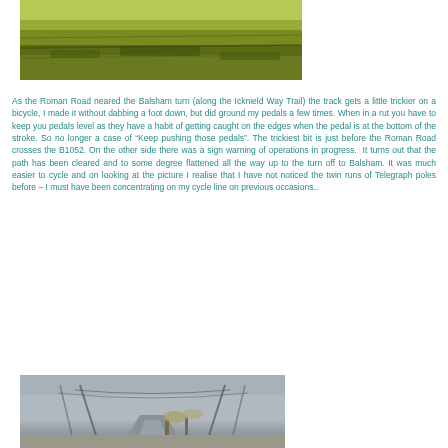[Figure (photo): Aerial/landscape view of agricultural fields with tracks, green and brown hues, countryside scene]
As the Roman Road neared the Balsham turn (along the Icknield Way Trail) the track gets a little trickier on a bicycle, I made it without dabbing a foot down, but did ground my pedals a few times. When in a rut you have to keep you pedals level as they have a habit of getting caught on the edges when the pedal is at the bottom of the stroke. So no longer a case of “Keep pushing those pedals”. The trickiest bit is just before the Roman Road crosses the B1052. On the other side there was a sign warning of operations in progress.  It turns out that the path has been cleared and to some degree flattened all the way up to the turn off to Balsham. It was much easier to cycle and on looking at the picture I realise that I have not noticed the twin runs of Telegraph poles before – I must have been concentrating on my cycle line on previous occasions..
[Figure (photo): Path through countryside with telegraph poles visible on both sides, overcast sky, bare trees in background]